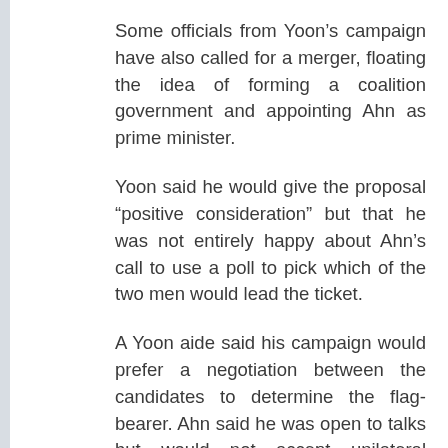Some officials from Yoon’s campaign have also called for a merger, floating the idea of forming a coalition government and appointing Ahn as prime minister.
Yoon said he would give the proposal “positive consideration” but that he was not entirely happy about Ahn’s call to use a poll to pick which of the two men would lead the ticket.
A Yoon aide said his campaign would prefer a negotiation between the candidates to determine the flag-bearer. Ahn said he was open to talks but would not accept unilateral demands for him to step down.
Ahn’s rise has come amid deepening voter discontentment…